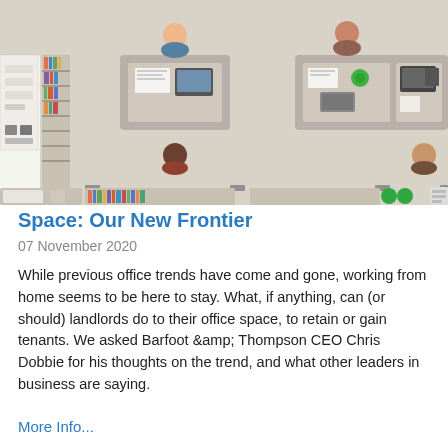[Figure (illustration): Top-down view of an office floor plan illustration showing desks with workers, a bookshelf/filing cabinet on the left, and office furniture arranged in a workspace. Cartoon-style overhead perspective with beige/tan flooring.]
Space: Our New Frontier
07 November 2020
While previous office trends have come and gone, working from home seems to be here to stay. What, if anything, can (or should) landlords do to their office space, to retain or gain tenants. We asked Barfoot &amp; Thompson CEO Chris Dobbie for his thoughts on the trend, and what other leaders in business are saying.
More Info...